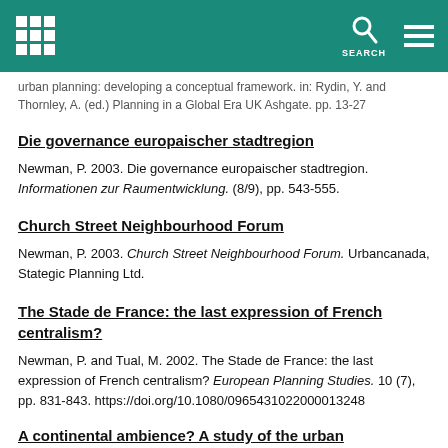SEARCH
urban planning: developing a conceptual framework. in: Rydin, Y. and Thornley, A. (ed.) Planning in a Global Era UK Ashgate. pp. 13-27
Die governance europaischer stadtregion
Newman, P. 2003. Die governance europaischer stadtregion. Informationen zur Raumentwicklung. (8/9), pp. 543-555.
Church Street Neighbourhood Forum
Newman, P. 2003. Church Street Neighbourhood Forum. Urbancanada, Stategic Planning Ltd.
The Stade de France: the last expression of French centralism?
Newman, P. and Tual, M. 2002. The Stade de France: the last expression of French centralism? European Planning Studies. 10 (7), pp. 831-843. https://doi.org/10.1080/0965431022000013248
A continental ambience? A study of the urban